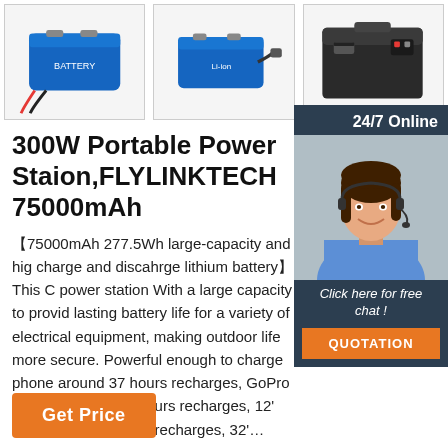[Figure (photo): Three product images of portable lithium battery packs: blue rectangular battery with red/black wires on the left, blue rectangular battery with connector cable in the middle, black rectangular box battery on the right]
24/7 Online
[Figure (photo): Woman with headset smiling, representing a customer service representative]
Click here for free chat !
QUOTATION
300W Portable Power Staion,FLYLINKTECH 75000mAh
【75000mAh 277.5Wh large-capacity and hig charge and discahrge lithium battery】This C power station With a large capacity to provid lasting battery life for a variety of electrical equipment, making outdoor life more secure. Powerful enough to charge phone around 37 hours recharges, GoPro camera around 56 hours recharges, 12' Mac Book around 15 recharges, 32'…
Get Price